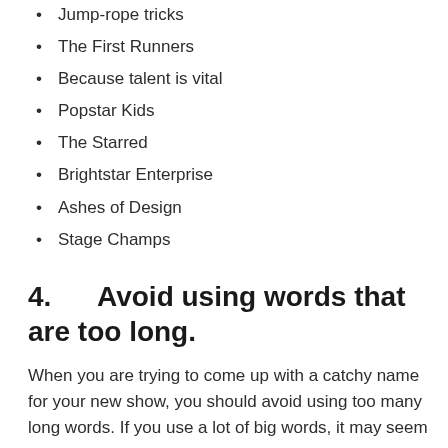Jump-rope tricks
The First Runners
Because talent is vital
Popstar Kids
The Starred
Brightstar Enterprise
Ashes of Design
Stage Champs
4.      Avoid using words that are too long.
When you are trying to come up with a catchy name for your new show, you should avoid using too many long words. If you use a lot of big words, it may seem complicated and confusing. Also, if your name is too long, it may not fit on the screen properly. So, try to